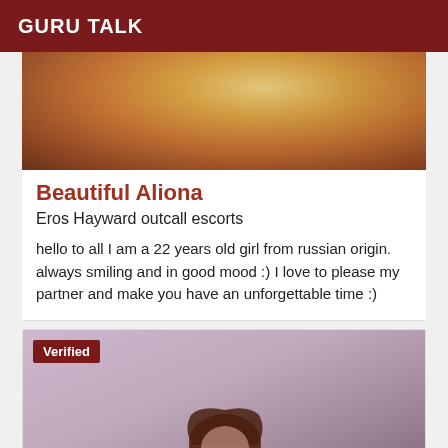GURU TALK
[Figure (photo): A photo showing a person with blonde hair wearing an orange top, partially cropped]
Beautiful Aliona
Eros Hayward outcall escorts
hello to all I am a 22 years old girl from russian origin. always smiling and in good mood :) I love to please my partner and make you have an unforgettable time :)
[Figure (photo): A person with auburn/red hair posing against a light purple/mauve background, with a 'Verified' badge overlay in the top left corner]